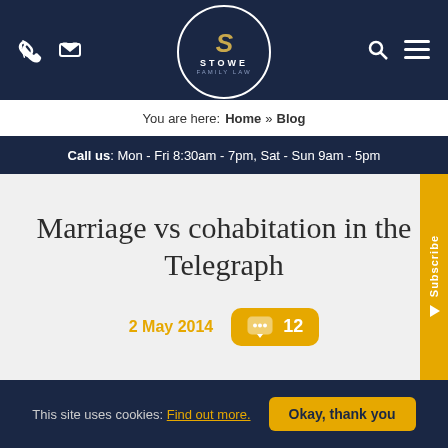[Figure (logo): Stowe Family Law logo — dark navy circle with stylized 'S' and text STOWE / FAMILY LAW]
Phone icon, email icon (left); search icon, menu icon (right) on dark navy header bar
You are here: Home » Blog
Call us: Mon - Fri 8:30am - 7pm, Sat - Sun 9am - 5pm
Marriage vs cohabitation in the Telegraph
2 May 2014
12 (comments)
Subscribe
This site uses cookies: Find out more. Okay, thank you